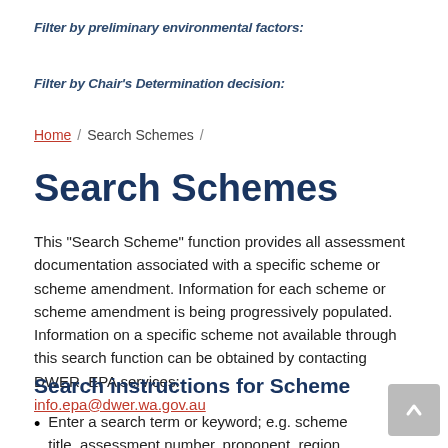Filter by preliminary environmental factors:
Filter by Chair's Determination decision:
Home / Search Schemes /
Search Schemes
This "Search Scheme" function provides all assessment documentation associated with a specific scheme or scheme amendment. Information for each scheme or scheme amendment is being progressively populated. Information on a specific scheme not available through this search function can be obtained by contacting DWER, EPA services: info.epa@dwer.wa.gov.au
Search instructions for Scheme
Enter a search term or keyword; e.g. scheme title, assessment number, proponent, region, local